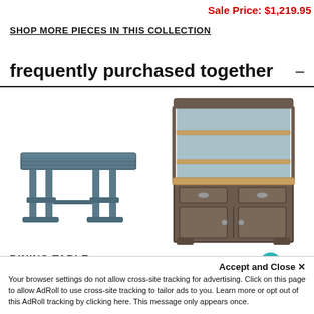Sale Price: $1,219.95
SHOP MORE PIECES IN THIS COLLECTION
frequently purchased together
[Figure (photo): A rustic trestle-style dining table with a dark blue-grey finish]
DINING TABLE
[Figure (photo): A dark brown china cabinet hutch with open shelves on top and drawers and cabinet doors on the bottom]
CHINA CABINET
Accept and Close ✕
Your browser settings do not allow cross-site tracking for advertising. Click on this page to allow AdRoll to use cross-site tracking to tailor ads to you. Learn more or opt out of this AdRoll tracking by clicking here. This message only appears once.